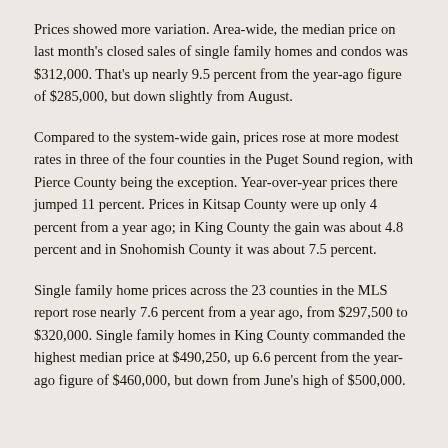Prices showed more variation. Area-wide, the median price on last month's closed sales of single family homes and condos was $312,000. That's up nearly 9.5 percent from the year-ago figure of $285,000, but down slightly from August.
Compared to the system-wide gain, prices rose at more modest rates in three of the four counties in the Puget Sound region, with Pierce County being the exception. Year-over-year prices there jumped 11 percent. Prices in Kitsap County were up only 4 percent from a year ago; in King County the gain was about 4.8 percent and in Snohomish County it was about 7.5 percent.
Single family home prices across the 23 counties in the MLS report rose nearly 7.6 percent from a year ago, from $297,500 to $320,000. Single family homes in King County commanded the highest median price at $490,250, up 6.6 percent from the year-ago figure of $460,000, but down from June's high of $500,000.